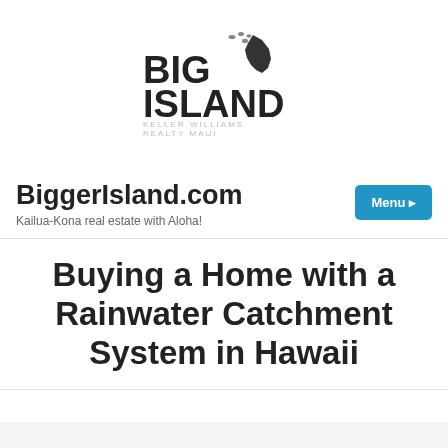[Figure (logo): Big Island Keller Williams Realty Maui logo with Hawaii island silhouette]
BiggerIsland.com
Kailua-Kona real estate with Aloha!
Buying a Home with a Rainwater Catchment System in Hawaii